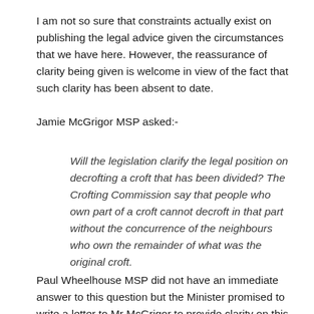I am not so sure that constraints actually exist on publishing the legal advice given the circumstances that we have here. However, the reassurance of clarity being given is welcome in view of the fact that such clarity has been absent to date.
Jamie McGrigor MSP asked:-
Will the legislation clarify the legal position on decrofting a croft that has been divided? The Crofting Commission say that people who own part of a croft cannot decroft in that part without the concurrence of the neighbours who own the remainder of what was the original croft.
Paul Wheelhouse MSP did not have an immediate answer to this question but the Minister promised to write a letter to Mr McGrigor to provide clarity on this point and undertook "to